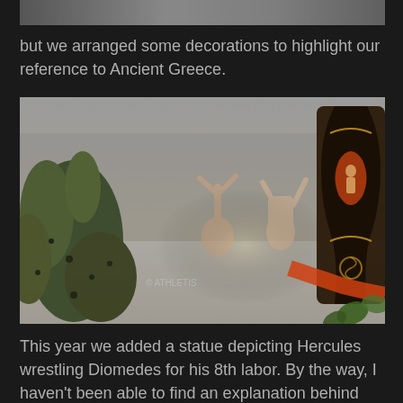[Figure (photo): Partial view of a photo at the top of the page, cropped — shows a blurred outdoor scene]
but we arranged some decorations to highlight our reference to Ancient Greece.
[Figure (photo): Outdoor scene with olive branches in foreground, people with arms raised in background, and a decorated Ancient Greek black-figure pottery vase on the right side, with ivy leaves]
This year we added a statue depicting Hercules wrestling Diomedes for his 8th labor. By the way, I haven't been able to find an explanation behind that